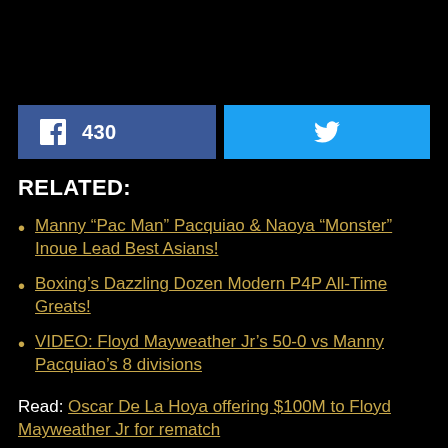[Figure (other): Black top area, likely image placeholder]
430 (Facebook share button) and Twitter share button
RELATED:
Manny “Pac Man” Pacquiao & Naoya “Monster” Inoue Lead Best Asians!
Boxing’s Dazzling Dozen Modern P4P All-Time Greats!
VIDEO: Floyd Mayweather Jr’s 50-0 vs Manny Pacquiao’s 8 divisions
Read: Oscar De La Hoya offering $100M to Floyd Mayweather Jr for rematch